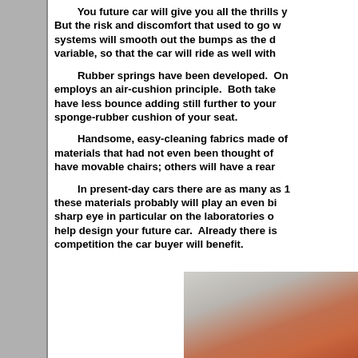You future car will give you all the thrills y... But the risk and discomfort that used to go w... systems will smooth out the bumps as the d... variable, so that the car will ride as well with...
Rubber springs have been developed. On... employs an air-cushion principle. Both take... have less bounce adding still further to your... sponge-rubber cushion of your seat.
Handsome, easy-cleaning fabrics made of... materials that had not even been thought of... have movable chairs; others will have a rear...
In present-day cars there are as many as 1... these materials probably will play an even bi... sharp eye in particular on the laboratories o... help design your future car. Already there is... competition the car buyer will benefit.
[Figure (photo): Bottom-right partial photo showing what appears to be a car or automotive component in reddish-orange color against a light/grey background]